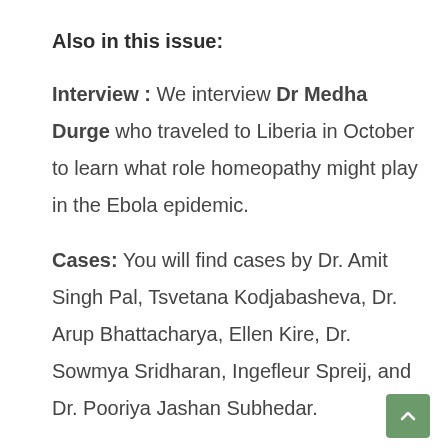Also in this issue:
Interview : We interview Dr Medha Durge who traveled to Liberia in October to learn what role homeopathy might play in the Ebola epidemic.
Cases: You will find cases by Dr. Amit Singh Pal, Tsvetana Kodjabasheva, Dr. Arup Bhattacharya, Ellen Kire, Dr. Sowmya Sridharan, Ingefleur Spreij, and Dr. Pooriya Jashan Subhedar.